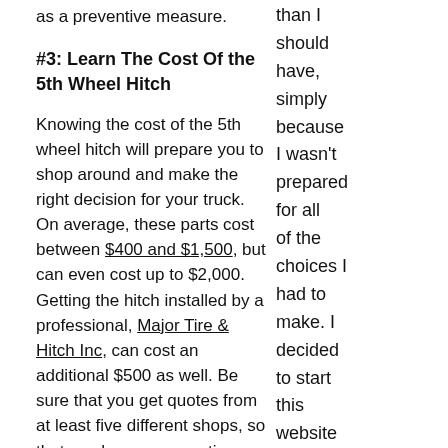as a preventive measure.
#3: Learn The Cost Of the 5th Wheel Hitch
Knowing the cost of the 5th wheel hitch will prepare you to shop around and make the right decision for your truck. On average, these parts cost between $400 and $1,500, but can even cost up to $2,000. Getting the hitch installed by a professional, Major Tire & Hitch Inc, can cost an additional $500 as well. Be sure that you get quotes from at least five different shops, so that you have some options when it comes to buying these hitches
than I should have, simply because I wasn't prepared for all of the choices I had to make. I decided to start this website to let